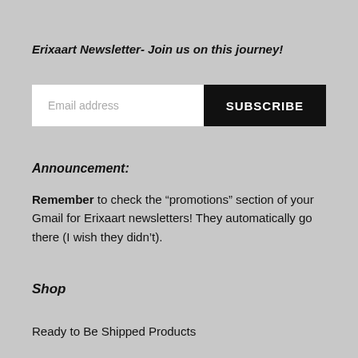Erixaart Newsletter- Join us on this journey!
Email address  SUBSCRIBE
Announcement:
Remember to check the “promotions” section of your Gmail for Erixaart newsletters! They automatically go there (I wish they didn’t).
Shop
Ready to Be Shipped Products